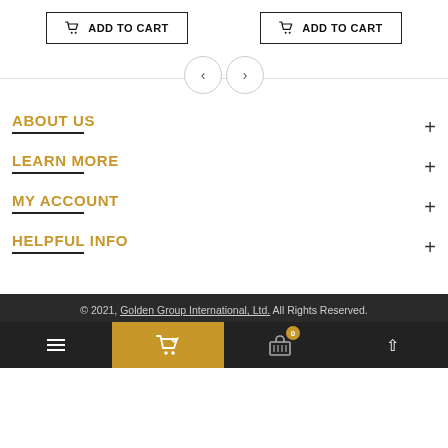[Figure (screenshot): Two 'ADD TO CART' buttons side by side with shopping cart icons]
[Figure (screenshot): Navigation arrows (left and right) on a horizontal divider line]
ABOUT US
LEARN MORE
MY ACCOUNT
HELPFUL INFO
© 2021, Golden Group International, Ltd. All Rights Reserved.
[Figure (screenshot): Mobile bottom navigation bar with hamburger menu, cart (gold), basket with badge 0, and up arrow]